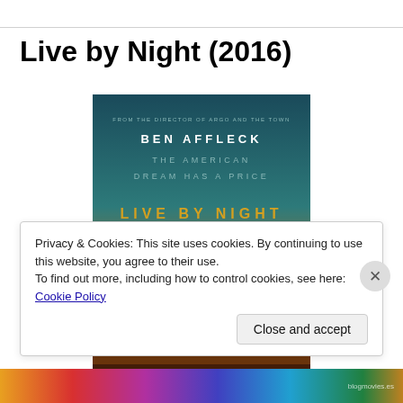Live by Night (2016)
[Figure (photo): Movie poster for Live by Night (2016) featuring Ben Affleck. Dark teal/teal-to-gold gradient background with text: FROM THE DIRECTOR OF ARGO AND THE TOWN, BEN AFFLECK, THE AMERICAN DREAM HAS A PRICE, LIVE BY NIGHT. A fedora hat silhouette in the foreground.]
Privacy & Cookies: This site uses cookies. By continuing to use this website, you agree to their use.
To find out more, including how to control cookies, see here: Cookie Policy
Close and accept